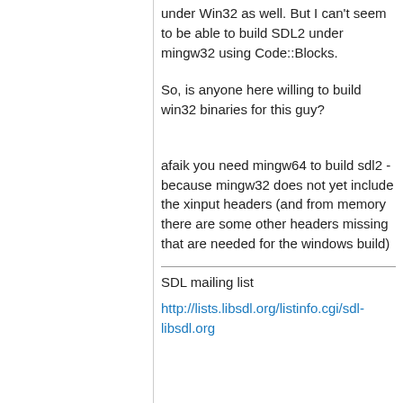under Win32 as well. But I can't seem to be able to build SDL2 under mingw32 using Code::Blocks.
So, is anyone here willing to build win32 binaries for this guy?
afaik you need mingw64 to build sdl2 - because mingw32 does not yet include the xinput headers (and from memory there are some other headers missing that are needed for the windows build)
SDL mailing list
http://lists.libsdl.org/listinfo.cgi/sdl-libsdl.org
SDL mailing list
http://lists.libsdl.org/listinfo.cgi/sdl-libsdl.org